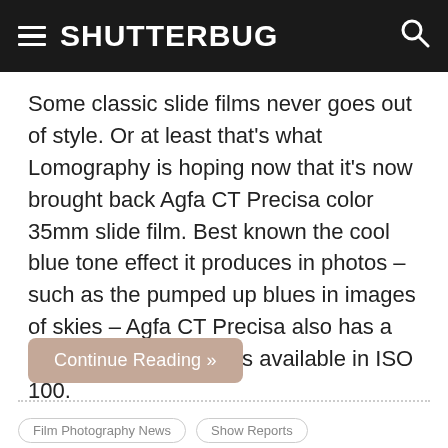SHUTTERBUG
Some classic slide films never goes out of style. Or at least that’s what Lomography is hoping now that it’s now brought back Agfa CT Precisa color 35mm slide film. Best known the cool blue tone effect it produces in photos – such as the pumped up blues in images of skies – Agfa CT Precisa also has a fine grain quality and is available in ISO 100.
Continue Reading »
Film Photography News   Show Reports